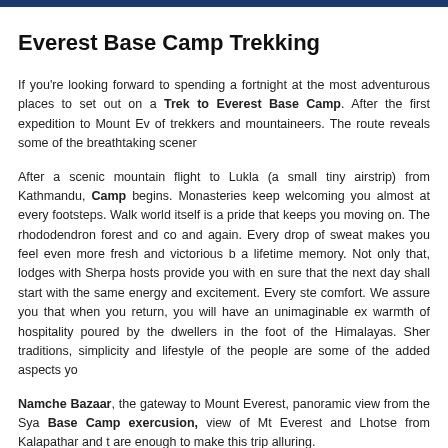Everest Base Camp Trekking
If you're looking forward to spending a fortnight at the most adventurous places to set out on a Trek to Everest Base Camp. After the first expedition to Mount Ev... of trekkers and mountaineers. The route reveals some of the breathtaking scene...
After a scenic mountain flight to Lukla (a small tiny airstrip) from Kathmandu, Camp begins. Monasteries keep welcoming you almost at every footsteps. Walk... world itself is a pride that keeps you moving on. The rhododendron forest and co... and again. Every drop of sweat makes you feel even more fresh and victorious b... a lifetime memory. Not only that, lodges with Sherpa hosts provide you with en... sure that the next day shall start with the same energy and excitement. Every ste... comfort. We assure you that when you return, you will have an unimaginable ex... warmth of hospitality poured by the dwellers in the foot of the Himalayas. Sher... traditions, simplicity and lifestyle of the people are some of the added aspects yo...
Namche Bazaar, the gateway to Mount Everest, panoramic view from the Sya... Base Camp exercusion, view of Mt Everest and Lhotse from Kalapathar and t... are enough to make this trip alluring.